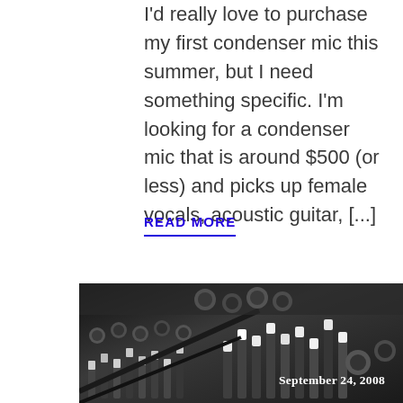I'd really love to purchase my first condenser mic this summer, but I need something specific. I'm looking for a condenser mic that is around $500 (or less) and picks up female vocals, acoustic guitar, [...]
READ MORE
[Figure (photo): Black and white close-up photo of a mixing board/audio console with faders and knobs, with a date overlay reading September 24, 2008]